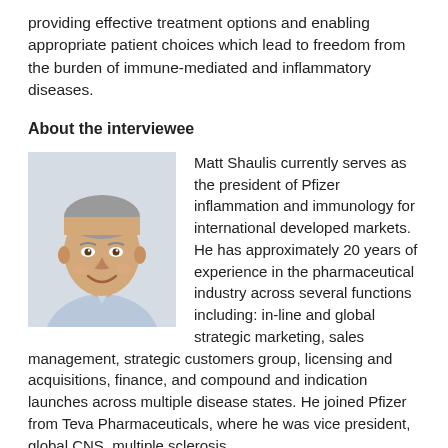providing effective treatment options and enabling appropriate patient choices which lead to freedom from the burden of immune-mediated and inflammatory diseases.
About the interviewee
[Figure (photo): Headshot of Matt Shaulis, a middle-aged man with short grey hair, smiling, wearing a light blue shirt, against a light background.]
Matt Shaulis currently serves as the president of Pfizer inflammation and immunology for international developed markets. He has approximately 20 years of experience in the pharmaceutical industry across several functions including: in-line and global strategic marketing, sales management, strategic customers group, licensing and acquisitions, finance, and compound and indication launches across multiple disease states. He joined Pfizer from Teva Pharmaceuticals, where he was vice president, global CNS, multiple sclerosis.